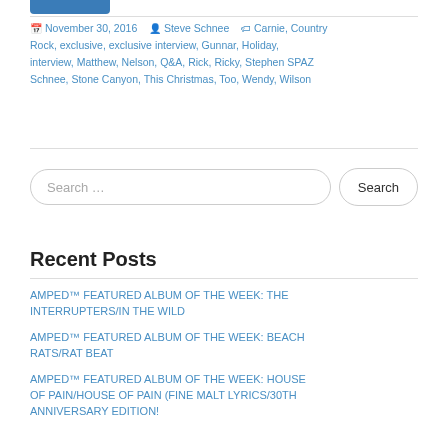November 30, 2016  Steve Schnee  Carnie, Country Rock, exclusive, exclusive interview, Gunnar, Holiday, interview, Matthew, Nelson, Q&A, Rick, Ricky, Stephen SPAZ Schnee, Stone Canyon, This Christmas, Too, Wendy, Wilson
Recent Posts
AMPED™ FEATURED ALBUM OF THE WEEK: THE INTERRUPTERS/IN THE WILD
AMPED™ FEATURED ALBUM OF THE WEEK: BEACH RATS/RAT BEAT
AMPED™ FEATURED ALBUM OF THE WEEK: HOUSE OF PAIN/HOUSE OF PAIN (FINE MALT LYRICS/30th ANNIVERSARY EDITION!